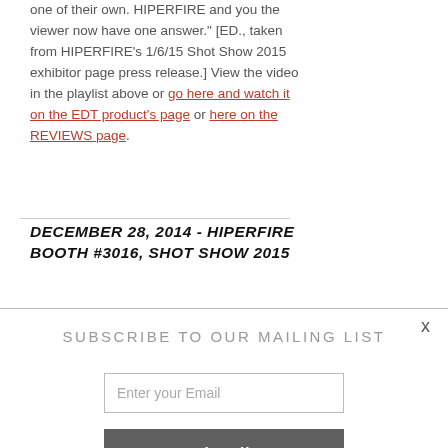one of their own. HIPERFIRE and you the viewer now have one answer." [ED., taken from HIPERFIRE's 1/6/15 Shot Show 2015 exhibitor page press release.] View the video in the playlist above or go here and watch it on the EDT product's page or here on the REVIEWS page.
DECEMBER 28, 2014 - HIPERFIRE BOOTH #3016, SHOT SHOW 2015
SUBSCRIBE TO OUR MAILING LIST
Enter your Email
Subscribe